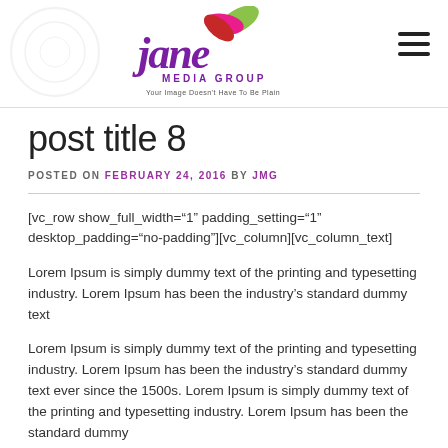Jane Media Group — Your Image Doesn't Have To Be Plain
post title 8
POSTED ON FEBRUARY 24, 2016 BY JMG
[vc_row show_full_width="1" padding_setting="1" desktop_padding="no-padding"][vc_column][vc_column_text]
Lorem Ipsum is simply dummy text of the printing and typesetting industry. Lorem Ipsum has been the industry's standard dummy text
Lorem Ipsum is simply dummy text of the printing and typesetting industry. Lorem Ipsum has been the industry's standard dummy text ever since the 1500s. Lorem Ipsum is simply dummy text of the printing and typesetting industry. Lorem Ipsum has been the standard dummy